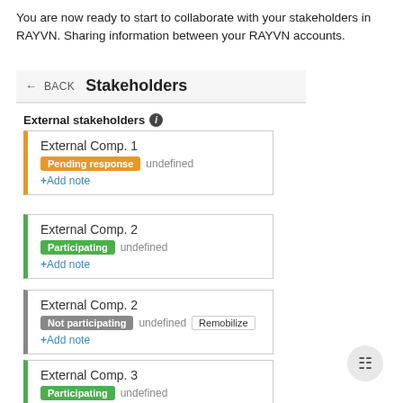You are now ready to start to collaborate with your stakeholders in RAYVN. Sharing information between your RAYVN accounts.
[Figure (screenshot): Navigation bar showing a back arrow, BACK label, and Stakeholders title on a light gray background]
External stakeholders ⓘ
[Figure (screenshot): Card for External Comp. 1 with orange left border, Pending response badge (orange), undefined text, and +Add note link]
[Figure (screenshot): Card for External Comp. 2 with green left border, Participating badge (green), undefined text, and +Add note link]
[Figure (screenshot): Card for External Comp. 2 with gray left border, Not participating badge (gray), undefined text, Remobilize button, and +Add note link]
[Figure (screenshot): Card for External Comp. 3 with green left border, Participating badge (green), undefined text, and +Add note link]
[Figure (other): Floating action button (chat icon) in bottom right corner]